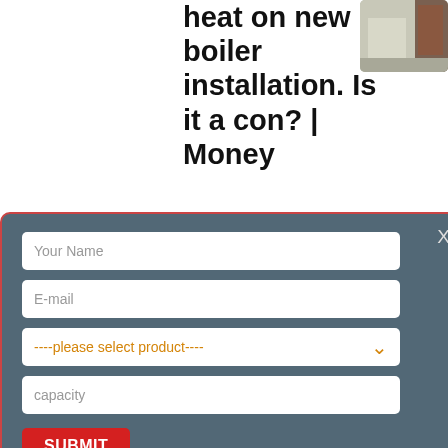heat on new boiler installation. Is it a con? | Money
[Figure (photo): Photo of shipping containers/industrial equipment outdoors]
call from Zanussi was part of a get all gas boilers
[Figure (screenshot): Contact form modal with fields: Your Name, E-mail, product selector, capacity, and SUBMIT button]
ew More
way to buy a boiler? Hire it | Money | The Guardian
[Figure (photo): Rendered image of an industrial gas boiler unit, teal/white color]